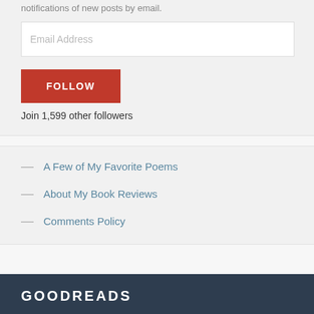notifications of new posts by email.
Email Address
FOLLOW
Join 1,599 other followers
A Few of My Favorite Poems
About My Book Reviews
Comments Policy
GOODREADS